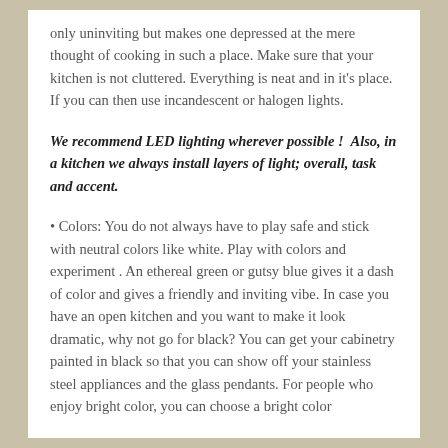only uninviting but makes one depressed at the mere thought of cooking in such a place. Make sure that your kitchen is not cluttered. Everything is neat and in it's place.  If you can then use incandescent or halogen lights.
We recommend LED lighting wherever possible !  Also, in a kitchen we always install layers of light; overall, task and accent.
Colors: You do not always have to play safe and stick with neutral colors like white. Play with colors and experiment . An ethereal green or gutsy blue gives it a dash of color and gives a friendly and inviting vibe. In case you have an open kitchen and you want to make it look dramatic, why not go for black? You can get your cabinetry painted in black so that you can show off your stainless steel appliances and the glass pendants. For people who enjoy bright color, you can choose a bright color